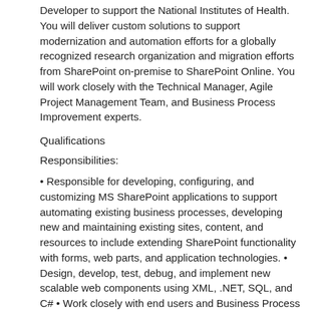Developer to support the National Institutes of Health. You will deliver custom solutions to support modernization and automation efforts for a globally recognized research organization and migration efforts from SharePoint on-premise to SharePoint Online. You will work closely with the Technical Manager, Agile Project Management Team, and Business Process Improvement experts.
Qualifications
Responsibilities:
• Responsible for developing, configuring, and customizing MS SharePoint applications to support automating existing business processes, developing new and maintaining existing sites, content, and resources to include extending SharePoint functionality with forms, web parts, and application technologies. • Design, develop, test, debug, and implement new scalable web components using XML, .NET, SQL, and C# • Work closely with end users and Business Process Improvement experts to develop, validate and document website and application requirements • Support Agile PM processes for planning and prioritizing development tasks • Provide monitoring and issue resolution support the Help Desk Support Team • Interact directly with clients and the Guidehouse delivery team to ensure customer success to include training to staff and customers
Required: